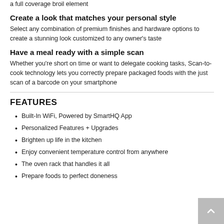a full coverage broil element
Create a look that matches your personal style
Select any combination of premium finishes and hardware options to create a stunning look customized to any owner's taste
Have a meal ready with a simple scan
Whether you're short on time or want to delegate cooking tasks, Scan-to-cook technology lets you correctly prepare packaged foods with the just scan of a barcode on your smartphone
FEATURES
Built-In WiFi, Powered by SmartHQ App
Personalized Features + Upgrades
Brighten up life in the kitchen
Enjoy convenient temperature control from anywhere
The oven rack that handles it all
Prepare foods to perfect doneness